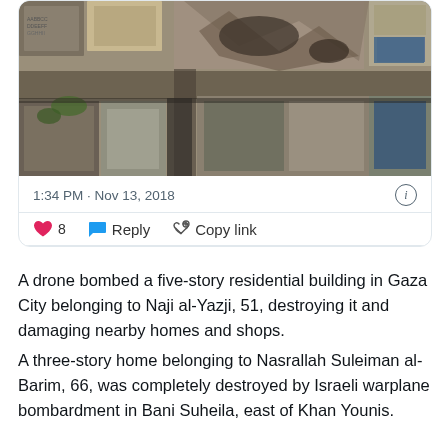[Figure (photo): Aerial/drone view looking down at urban buildings in Gaza, showing destroyed and damaged structures, rubble, and rooftops from above.]
1:34 PM · Nov 13, 2018
♥ 8   Reply   Copy link
A drone bombed a five-story residential building in Gaza City belonging to Naji al-Yazji, 51, destroying it and damaging nearby homes and shops.
A three-story home belonging to Nasrallah Suleiman al-Barim, 66, was completely destroyed by Israeli warplane bombardment in Bani Suheila, east of Khan Younis.